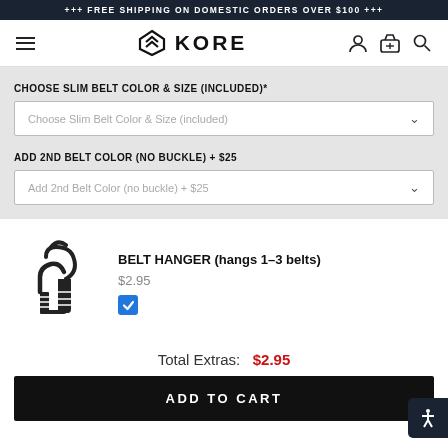+++ FREE SHIPPING ON DOMESTIC ORDERS OVER $100 +++
[Figure (logo): KORE brand logo with shield/chevron icon and text KORE]
CHOOSE SLIM BELT COLOR & SIZE (INCLUDED)*
Choose Slim Belt Color & Size (included)
ADD 2ND BELT COLOR (NO BUCKLE) + $25
Add 2nd Belt Color (no buckle) + $25
[Figure (illustration): Belt hanger product icon - black illustration of a belt hanger that holds 1-3 belts]
BELT HANGER (hangs 1-3 belts)
$2.95
Total Extras:  $2.95
ADD TO CART